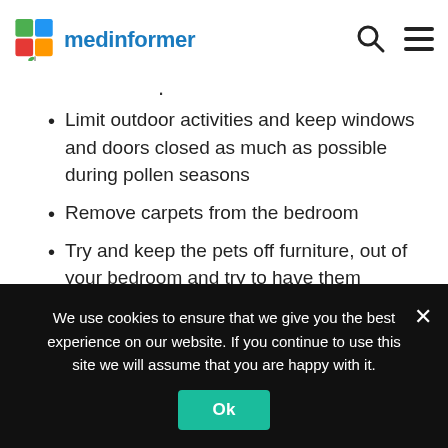medinformer
Limit outdoor activities and keep windows and doors closed as much as possible during pollen seasons
Remove carpets from the bedroom
Try and keep the pets off furniture, out of your bedroom and try to have them washed weekly
To kill dust mites, wash bedding in hot water
We use cookies to ensure that we give you the best experience on our website. If you continue to use this site we will assume that you are happy with it.